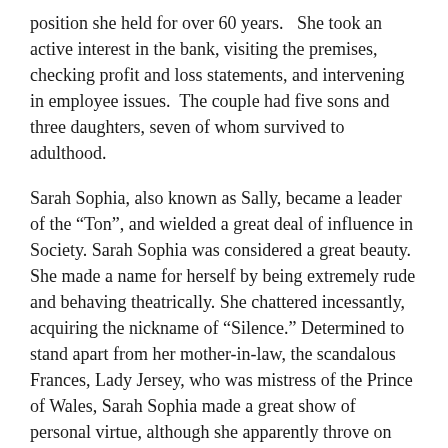position she held for over 60 years.   She took an active interest in the bank, visiting the premises, checking profit and loss statements, and intervening in employee issues.  The couple had five sons and three daughters, seven of whom survived to adulthood.
Sarah Sophia, also known as Sally, became a leader of the “Ton”, and wielded a great deal of influence in Society. Sarah Sophia was considered a great beauty.  She made a name for herself by being extremely rude and behaving theatrically. She chattered incessantly, acquiring the nickname of “Silence.” Determined to stand apart from her mother-in-law, the scandalous Frances, Lady Jersey, who was mistress of the Prince of Wales, Sarah Sophia made a great show of personal virtue, although she apparently throve on gossip. In spite of her affectations, she appears to have been regarded with affection by many of her peers.   In a letter written in 1816 to her